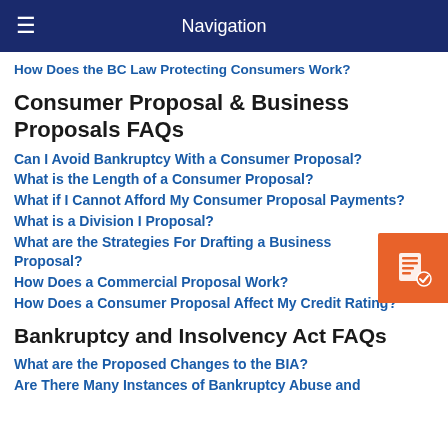Navigation
How Does the BC Law Protecting Consumers Work?
Consumer Proposal & Business Proposals FAQs
Can I Avoid Bankruptcy With a Consumer Proposal?
What is the Length of a Consumer Proposal?
What if I Cannot Afford My Consumer Proposal Payments?
What is a Division I Proposal?
What are the Strategies For Drafting a Business Proposal?
How Does a Commercial Proposal Work?
How Does a Consumer Proposal Affect My Credit Rating?
Bankruptcy and Insolvency Act FAQs
What are the Proposed Changes to the BIA?
Are There Many Instances of Bankruptcy Abuse and